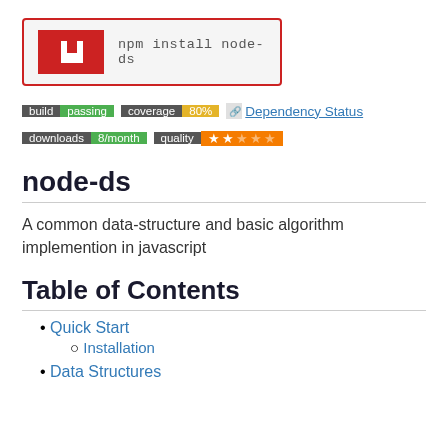[Figure (screenshot): npm install box with npm logo and command 'npm install node-ds']
[Figure (infographic): Badges: build passing, coverage 80%, Dependency Status, downloads 8/month, quality 2 stars]
node-ds
A common data-structure and basic algorithm implemention in javascript
Table of Contents
Quick Start
Installation
Data Structures